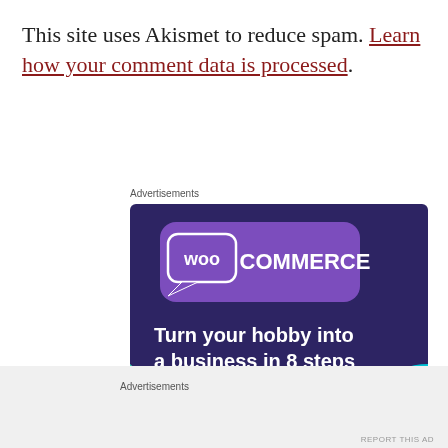This site uses Akismet to reduce spam. Learn how your comment data is processed.
Advertisements
[Figure (illustration): WooCommerce advertisement banner with dark purple background, teal triangle shape, light blue circle, purple speech-bubble logo with 'woo COMMERCE' text, headline 'Turn your hobby into a business in 8 steps', and a white 'Start a new store' button.]
Advertisements